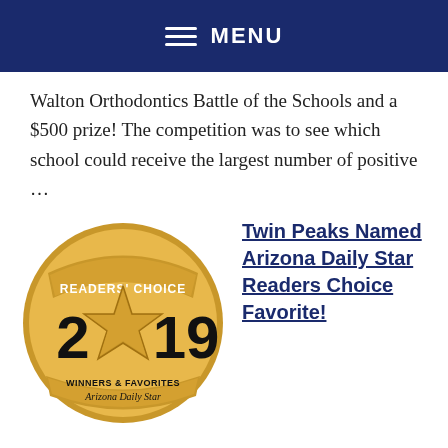MENU
Walton Orthodontics Battle of the Schools and a $500 prize! The competition was to see which school could receive the largest number of positive ...
[Figure (logo): Readers' Choice 2019 Winners & Favorites Arizona Daily Star badge/seal in gold and black]
Twin Peaks Named Arizona Daily Star Readers Choice Favorite!
Congratulations Twin Peaks K-8, named